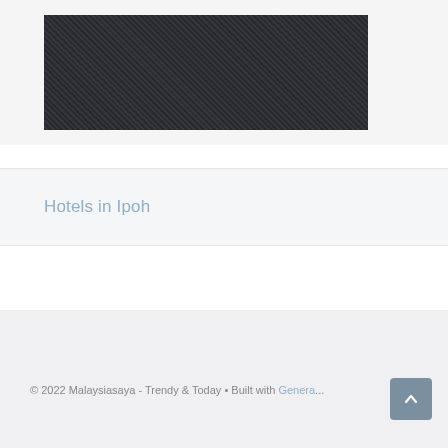[Figure (photo): A dark textured image, appearing as a noisy/grainy dark gray rectangle, positioned inside a white card area at the top of the page.]
Hotels in Ipoh
© 2022 Malaysiasaya - Trendy & Today • Built with Genera...